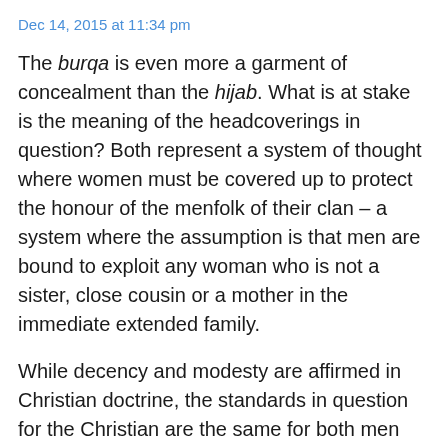Dec 14, 2015 at 11:34 pm
The burqa is even more a garment of concealment than the hijab. What is at stake is the meaning of the headcoverings in question? Both represent a system of thought where women must be covered up to protect the honour of the menfolk of their clan – a system where the assumption is that men are bound to exploit any woman who is not a sister, close cousin or a mother in the immediate extended family.
While decency and modesty are affirmed in Christian doctrine, the standards in question for the Christian are the same for both men and women: It is not a matter of a double standard which blames and punishes the fairer sex for the lust and covetousness of sinful men.